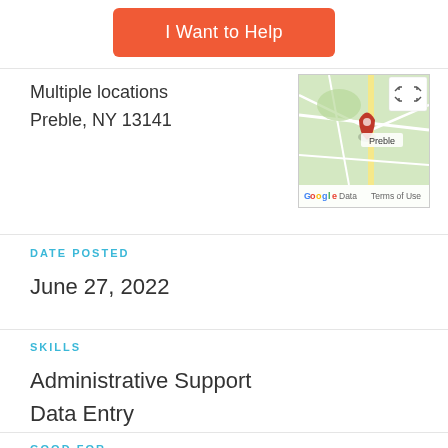I Want to Help
Multiple locations
Preble, NY 13141
[Figure (map): Google Maps thumbnail showing Preble, NY with a red pin marker and road network on a green background. Bottom bar shows 'o Data  Terms of Use'. Top-right has expand icon.]
DATE POSTED
June 27, 2022
SKILLS
Administrative Support
Data Entry
GOOD FOR
People 55+
REQUIREMENTS